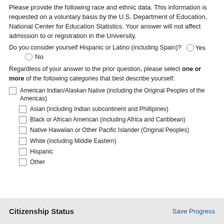Please provide the following race and ethnic data. This information is requested on a voluntary basis by the U.S. Department of Education, National Center for Education Statistics. Your answer will not affect admission to or registration in the University.
Do you consider yourself Hispanic or Latino (including Spain)?  Yes  No
Regardless of your answer to the prior question, please select one or more of the following categories that best describe yourself:
American Indian/Alaskan Native (including the Original Peoples of the Americas)
Asian (including Indian subcontinent and Phillipines)
Black or African American (including Africa and Caribbean)
Native Hawaiian or Other Pacific Islander (Original Peoples)
White (including Middle Eastern)
Hispanic
Other
Citizenship Status
Save Progress